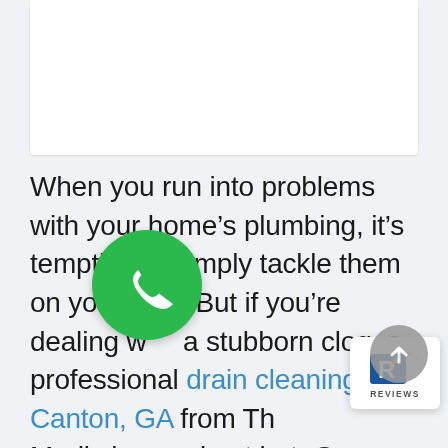[Figure (other): White rectangular box at top of page, likely an image placeholder or header image area]
When you run into problems with your home’s plumbing, it’s tempting to simply tackle them on your own. But if you’re dealing with a stubborn clog, a professional drain cleaning in Canton, GA from The Plumbing Medic is your best bet. Going the DIY route may seem like the way to go, but we hope that the reasons we have listed below can
[Figure (logo): Reviews badge with star icon and REVIEWS text, white background with rounded corners]
[Figure (other): Green circular phone call button with white phone handset icon]
[Figure (other): Grey circular scroll-to-top button with white upward arrow icon]